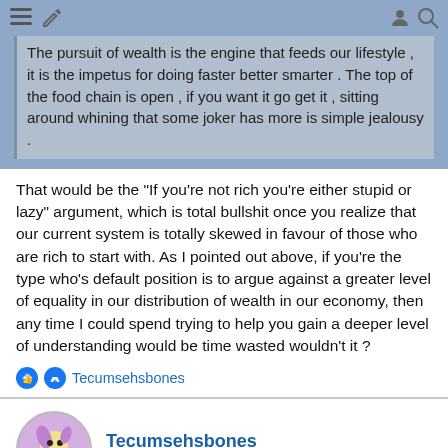The pursuit of wealth is the engine that feeds our lifestyle , it is the impetus for doing faster better smarter . The top of the food chain is open , if you want it go get it , sitting around whining that some joker has more is simple jealousy .
That would be the "If you're not rich you're either stupid or lazy" argument, which is total bullshit once you realize that our current system is totally skewed in favour of those who are rich to start with. As I pointed out above, if you're the type who's default position is to argue against a greater level of equality in our distribution of wealth in our economy, then any time I could spend trying to help you gain a deeper level of understanding would be time wasted wouldn't it ?
Tecumsehsbones
Tecumsehsbones
Hall of Fame Member
Apr 20, 2022
#804
Nick Danger said: